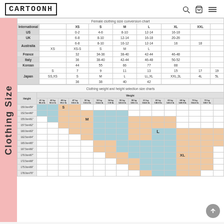CARTOONH
|  | XS | S | M | L | XL | XXL |
| --- | --- | --- | --- | --- | --- | --- |
| International | XS | S | M | L | XL | XXL |
| US |  | 0-2 | 4-6 | 8-10 | 12-14 | 16-18 |
| UK |  | 6-8 | 8-10 | 12-14 | 16-18 | 20-26 |
| Australia |  | 6-8 / XS | 8-10 / XS-S | 10-12 / S | 12-14 / M | 16 / L | 18 |
| France |  | 32 | 34-36 | 38-40 | 42-44 | 46-48 |
| Italy |  | 36 | 38-40 | 42-44 | 46-48 | 50-52 |
| Korean |  | 44 | 55 | 66 | 77 | 88 |
| Japan | S | 7 / SS,XS | 9 / S | 11 / M | 13 / LL,XL | 15 / XXL,3L | 17 / 4L | 19 / 5L |
|  |  | 36 | 38 | 40 | 42 |  |  |
| Height | 41kg | 42kg | 45kg | 47kg | 50kg | 52kg | 54kg | 55kg | 59kg | 61kg | 63kg | 65kg | 68kg | 70kg | 72kg |
| --- | --- | --- | --- | --- | --- | --- | --- | --- | --- | --- | --- | --- | --- | --- | --- |
| 150.0cm/59" | S |  | M |  |  |  | L |  |  |  |  |  | XL |  |  |
| 152.5cm/60" |  |  |  |  |  |  |  |  |  |  |  |  |  |  |  |
| 155.0cm/61" |  |  |  |  |  |  |  |  |  |  |  |  |  |  |  |
| 157.5cm/62" |  |  |  |  |  |  |  |  |  |  |  |  |  |  |  |
| 160.0cm/63" |  |  |  |  |  |  |  |  |  |  |  |  |  |  |  |
| 162.5cm/64" |  |  |  |  |  |  |  |  |  |  |  |  |  |  |  |
| 165.0cm/65" |  |  |  |  |  |  |  |  |  |  |  |  |  |  |  |
| 167.5cm/66" |  |  |  |  |  |  |  |  |  |  |  |  |  |  |  |
| 170.0cm/67" |  |  |  |  |  |  |  |  |  |  |  |  |  |  |  |
| 172.5cm/68" |  |  |  |  |  |  |  |  |  |  |  |  |  |  |  |
| 175.0cm/69" |  |  |  |  |  |  |  |  |  |  |  |  |  |  |  |
| 178.0cm/70" |  |  |  |  |  |  |  |  |  |  |  |  |  |  |  |